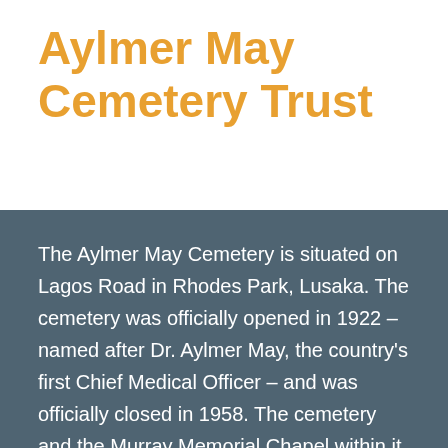Aylmer May Cemetery Trust
The Aylmer May Cemetery is situated on Lagos Road in Rhodes Park, Lusaka. The cemetery was officially opened in 1922 – named after Dr. Aylmer May, the country's first Chief Medical Officer – and was officially closed in 1958. The cemetery and the Murray Memorial Chapel within it are Registered National Heritage Sites. Over 1000 identifiable graves are located in the